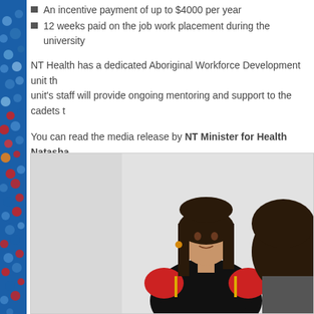An incentive payment of up to $4000 per year
12 weeks paid on the job work placement during the university
NT Health has a dedicated Aboriginal Workforce Development unit th... unit's staff will provide ongoing mentoring and support to the cadets t...
You can read the media release by NT Minister for Health Natasha... Further cadetship information can be found on the NT Health websit...
[Figure (photo): A young woman in a black polo shirt with red and yellow accents is shown in conversation with another person whose back is to the camera. The setting appears to be a professional health environment.]